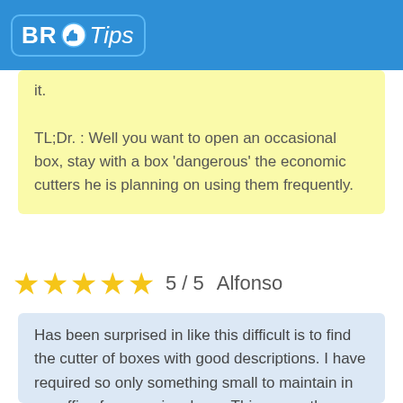BR Tips
it.

TL;Dr. : Well you want to open an occasional box, stay with a box 'dangerous' the economic cutters he is planning on using them frequently.
5 / 5   Alfonso
Has been surprised in like this difficult is to find the cutter of boxes with good descriptions. I have required so only something small to maintain in my office for occasional use. This opens the boxes but he is very tiny. Included In the bod that